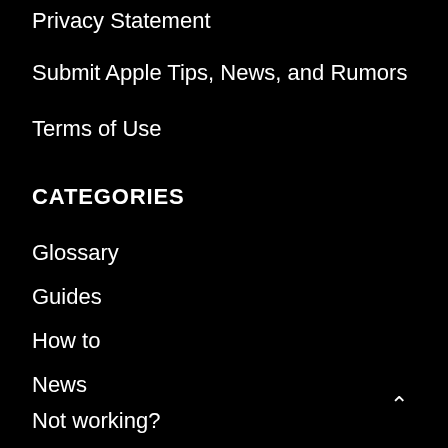Privacy Statement
Submit Apple Tips, News, and Rumors
Terms of Use
CATEGORIES
Glossary
Guides
How to
News
Not working?
Tips and tricks